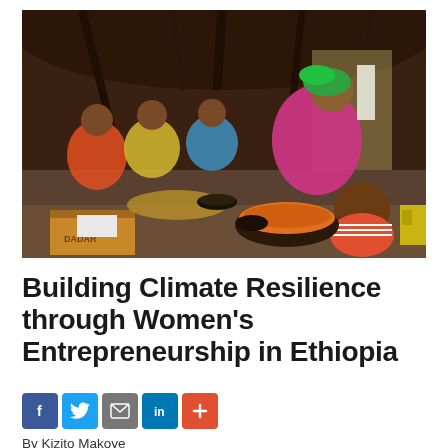[Figure (photo): A woman in a green headscarf and colorful dress sits inside a traditional hut, with three children nearby. A young child in an orange striped shirt sits with his back to the camera in front of a bowl of orange food. A cardboard box and various household items are visible on the dirt floor.]
Building Climate Resilience through Women's Entrepreneurship in Ethiopia
[Figure (infographic): Social media sharing buttons: Facebook (blue), Twitter (blue bird), Email (grey), LinkedIn (blue), and a red plus/more button.]
By Kizito Makoye